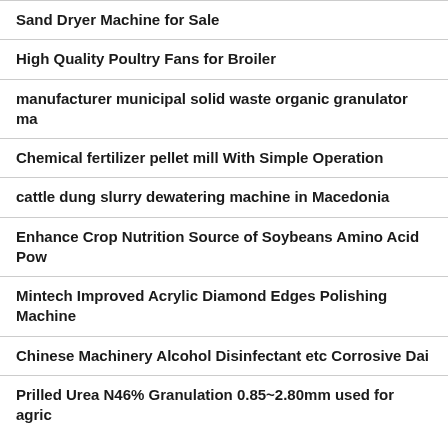Sand Dryer Machine for Sale
High Quality Poultry Fans for Broiler
manufacturer municipal solid waste organic granulator ma
Chemical fertilizer pellet mill With Simple Operation
cattle dung slurry dewatering machine in Macedonia
Enhance Crop Nutrition Source of Soybeans Amino Acid Pow
Mintech Improved Acrylic Diamond Edges Polishing Machine
Chinese Machinery Alcohol Disinfectant etc Corrosive Dai
Prilled Urea N46% Granulation 0.85~2.80mm used for agric